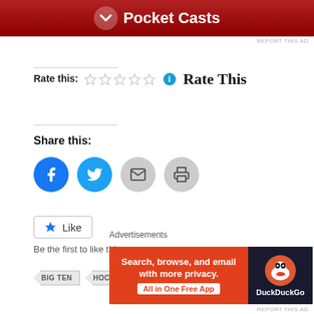[Figure (other): Pocket Casts advertisement banner with red gradient background and white logo/text]
REPORT THIS AD
Rate this: ☆☆☆☆☆ ℹ Rate This
Share this:
[Figure (other): Social share buttons: Facebook, Twitter, Email, Print]
[Figure (other): Like button with star icon]
Be the first to like this.
BIG TEN
HOCKEY
JOHN WIITALA
Advertisements
[Figure (other): DuckDuckGo advertisement: Search, browse, and email with more privacy. All in One Free App]
REPORT THIS AD